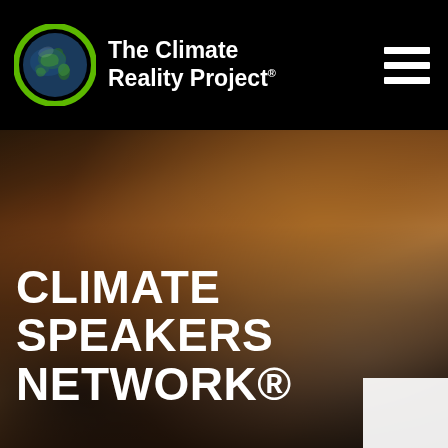[Figure (logo): The Climate Reality Project logo: green-outlined Earth globe icon with white text 'The Climate Reality Project' and registered trademark symbol]
[Figure (illustration): Hamburger menu icon (three horizontal white bars) in the top right corner of the black header]
[Figure (photo): Blurred background photo of a crowd/audience at an event, with warm brown and orange tones]
CLIMATE SPEAKERS NETWORK®